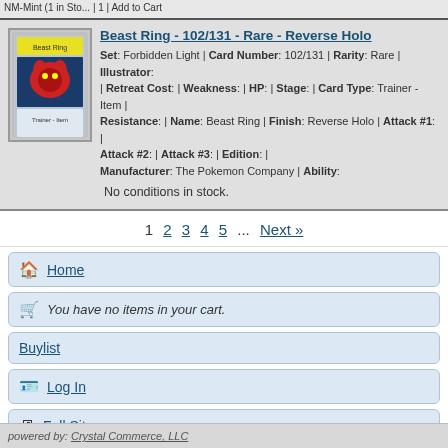NM-Mint (1 in Sto... | 1 | Add to Cart
Beast Ring - 102/131 - Rare - Reverse Holo
Set: Forbidden Light | Card Number: 102/131 | Rarity: Rare | Illustrator: | Retreat Cost: | Weakness: | HP: | Stage: | Card Type: Trainer - Item | Resistance: | Name: Beast Ring | Finish: Reverse Holo | Attack #1: | Attack #2: | Attack #3: | Edition: | Manufacturer: The Pokemon Company | Ability:
No conditions in stock.
1 2 3 4 5 ... Next »
Home
You have no items in your cart.
Buylist
Log In
Full Site
powered by: Crystal Commerce, LLC